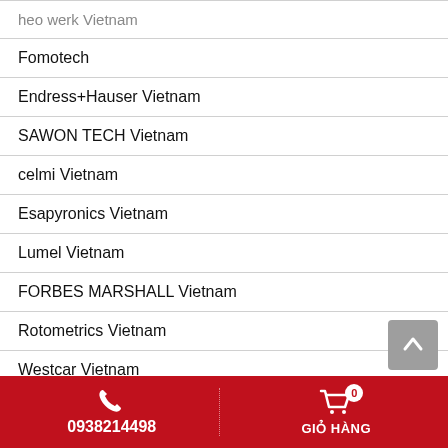heo werk Vietnam
Fomotech
Endress+Hauser Vietnam
SAWON TECH Vietnam
celmi Vietnam
Esapyronics Vietnam
Lumel Vietnam
FORBES MARSHALL Vietnam
Rotometrics Vietnam
Westcar Vietnam
Meccrios Vietnam
0938214498  GIỎ HÀNG 0